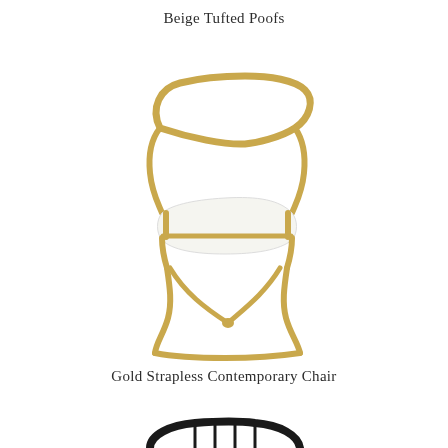Beige Tufted Poofs
[Figure (photo): A gold strapless contemporary accent chair with a curved gold metal frame and white upholstered seat cushion, photographed on white background.]
Gold Strapless Contemporary Chair
[Figure (photo): Partial view of a black chair or furniture item visible at the bottom edge of the page.]